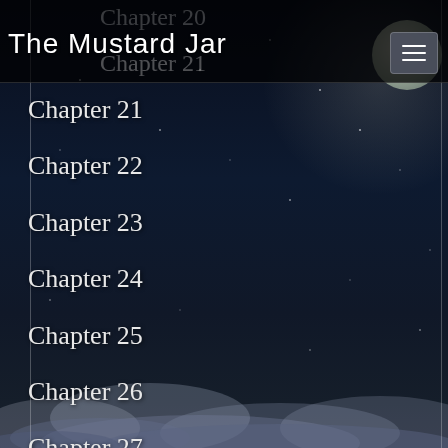The Mustard Jar
Chapter 20
Chapter 21
Chapter 22
Chapter 23
Chapter 24
Chapter 25
Chapter 26
Chapter 27
Chapter 28